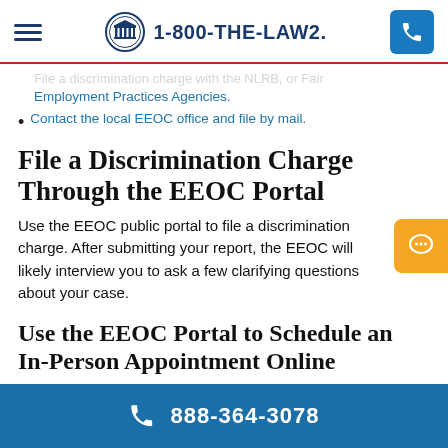1-800-THE-LAW2.
File a discrimination charge with the NLRB, or Fair Employment Practices Agencies.
Contact the local EEOC office and file by mail.
File a Discrimination Charge Through the EEOC Portal
Use the EEOC public portal to file a discrimination charge. After submitting your report, the EEOC will likely interview you to ask a few clarifying questions about your case.
Use the EEOC Portal to Schedule an In-Person Appointment Online
888-364-3078